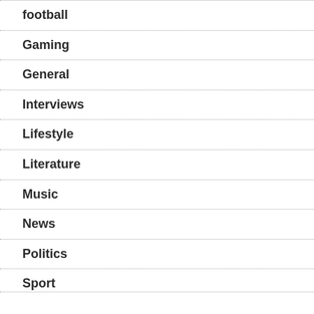football
Gaming
General
Interviews
Lifestyle
Literature
Music
News
Politics
Sport